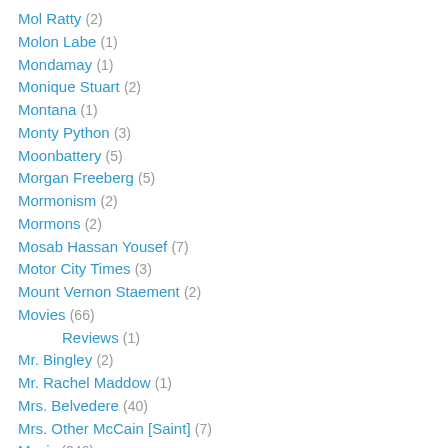Mol Ratty (2)
Molon Labe (1)
Mondamay (1)
Monique Stuart (2)
Montana (1)
Monty Python (3)
Moonbattery (5)
Morgan Freeberg (5)
Mormonism (2)
Mormons (2)
Mosab Hassan Yousef (7)
Motor City Times (3)
Mount Vernon Staement (2)
Movies (66)
Reviews (1)
Mr. Bingley (2)
Mr. Rachel Maddow (1)
Mrs. Belvedere (40)
Mrs. Other McCain [Saint] (7)
Music (246)